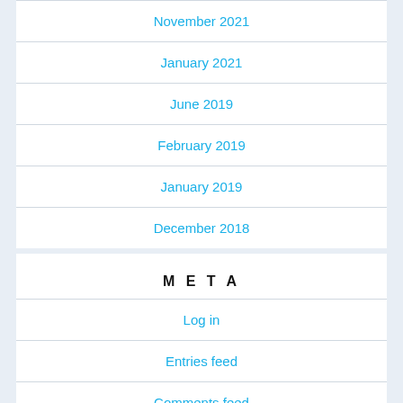November 2021
January 2021
June 2019
February 2019
January 2019
December 2018
META
Log in
Entries feed
Comments feed
WordPress.org